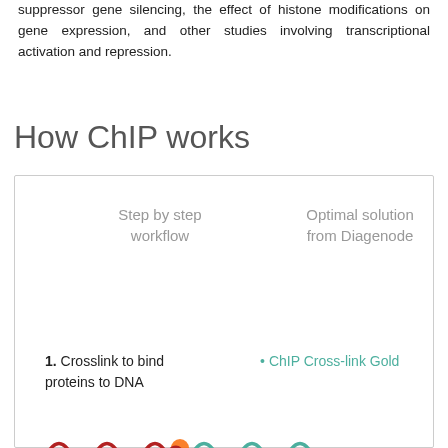suppressor gene silencing, the effect of histone modifications on gene expression, and other studies involving transcriptional activation and repression.
How ChIP works
[Figure (infographic): Two-column infographic box showing 'Step by step workflow' on the left and 'Optimal solution from Diagenode' on the right. Step 1: Crosslink to bind proteins to DNA (left), ChIP Cross-link Gold link (right). A wavy DNA illustration with a protein marker. Step 2: Shear DNA (partially visible at bottom).]
1. Crosslink to bind proteins to DNA
2. Shear DNA
ChIP Cross-link Gold
Bioruptor® Bio...